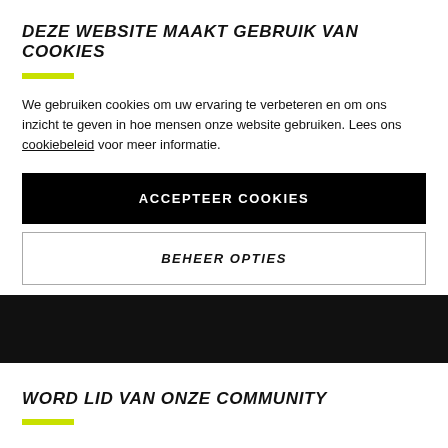DEZE WEBSITE MAAKT GEBRUIK VAN COOKIES
We gebruiken cookies om uw ervaring te verbeteren en om ons inzicht te geven in hoe mensen onze website gebruiken. Lees ons cookiebeleid voor meer informatie.
ACCEPTEER COOKIES
BEHEER OPTIES
[Figure (other): Black horizontal band/bar spanning full width]
WORD LID VAN ONZE COMMUNITY